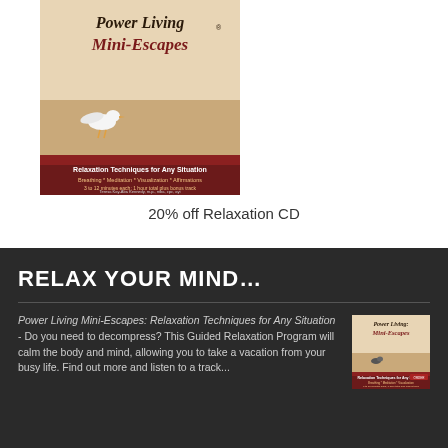[Figure (illustration): Power Living Mini-Escapes CD cover showing a seagull on a sandy beach, with title 'Power Living Mini-Escapes' and subtitle 'Relaxation Techniques for Any Situation. Breathing * Meditation * Visualization * Affirmations. 3 to 12 minutes each; 1 hour total plus bonus track. Teresa Kay-Aba Kennedy']
20% off Relaxation CD
RELAX YOUR MIND…
Power Living Mini-Escapes: Relaxation Techniques for Any Situation - Do you need to decompress? This Guided Relaxation Program will calm the body and mind, allowing you to take a vacation from your busy life. Find out more and listen to a track...
[Figure (illustration): Small thumbnail of Power Living Mini-Escapes CD cover]